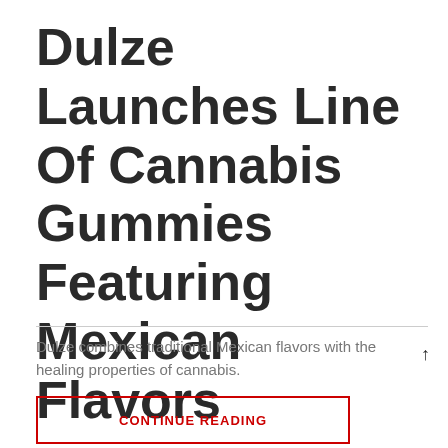Dulze Launches Line Of Cannabis Gummies Featuring Mexican Flavors
Dulze combines traditional Mexican flavors with the healing properties of cannabis.
CONTINUE READING